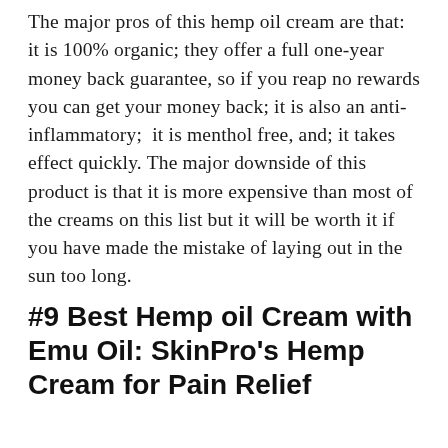The major pros of this hemp oil cream are that: it is 100% organic; they offer a full one-year money back guarantee, so if you reap no rewards you can get your money back; it is also an anti-inflammatory;  it is menthol free, and; it takes effect quickly. The major downside of this product is that it is more expensive than most of the creams on this list but it will be worth it if you have made the mistake of laying out in the sun too long.
#9 Best Hemp oil Cream with Emu Oil: SkinPro's Hemp Cream for Pain Relief